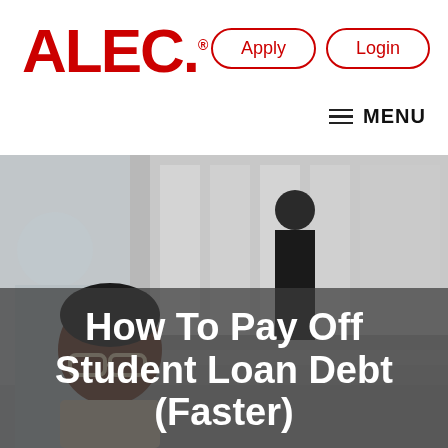[Figure (logo): ALEC logo in red with registered trademark symbol]
Apply
Login
≡ MENU
[Figure (photo): Background photo of students on steps, with a smiling woman with glasses in the foreground]
How To Pay Off Student Loan Debt (Faster)